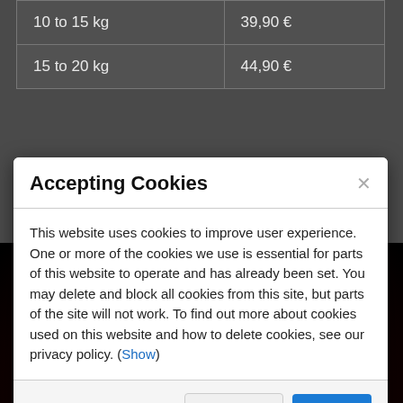| 10 to 15 kg | 39,90 € |
| 15 to 20 kg | 44,90 € |
Accepting Cookies
This website uses cookies to improve user experience. One or more of the cookies we use is essential for parts of this website to operate and has already been set. You may delete and block all cookies from this site, but parts of the site will not work. To find out more about cookies used on this website and how to delete cookies, see our privacy policy. (Show)